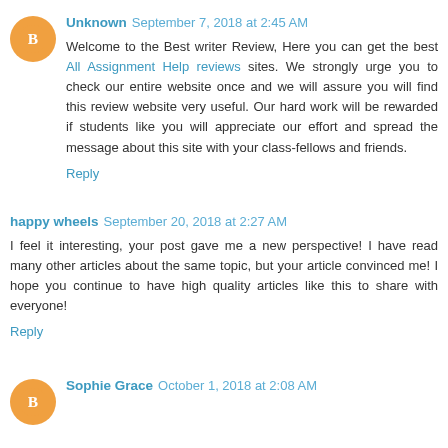Unknown September 7, 2018 at 2:45 AM
Welcome to the Best writer Review, Here you can get the best All Assignment Help reviews sites. We strongly urge you to check our entire website once and we will assure you will find this review website very useful. Our hard work will be rewarded if students like you will appreciate our effort and spread the message about this site with your class-fellows and friends.
Reply
happy wheels September 20, 2018 at 2:27 AM
I feel it interesting, your post gave me a new perspective! I have read many other articles about the same topic, but your article convinced me! I hope you continue to have high quality articles like this to share with everyone!
Reply
Sophie Grace October 1, 2018 at 2:08 AM